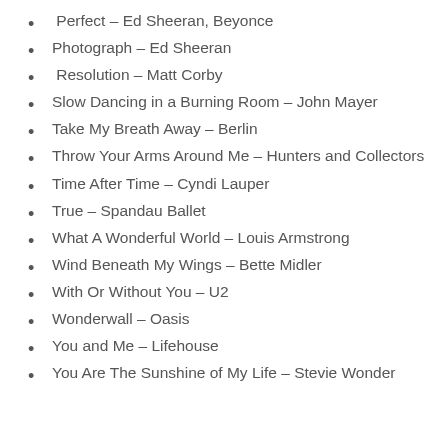Perfect – Ed Sheeran, Beyonce
Photograph – Ed Sheeran
Resolution – Matt Corby
Slow Dancing in a Burning Room – John Mayer
Take My Breath Away – Berlin
Throw Your Arms Around Me – Hunters and Collectors
Time After Time – Cyndi Lauper
True – Spandau Ballet
What A Wonderful World – Louis Armstrong
Wind Beneath My Wings – Bette Midler
With Or Without You – U2
Wonderwall – Oasis
You and Me – Lifehouse
You Are The Sunshine of My Life – Stevie Wonder